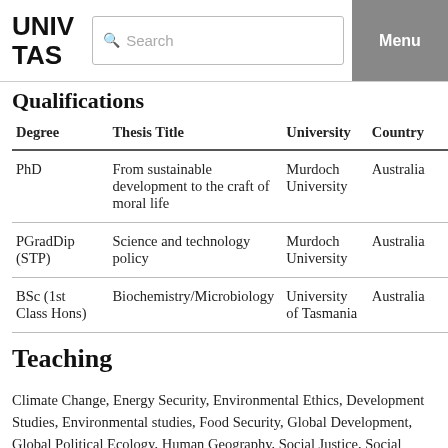UNIV TAS  Search  Menu
Qualifications
| Degree | Thesis Title | University | Country |  |
| --- | --- | --- | --- | --- |
| PhD | From sustainable development to the craft of moral life | Murdoch University | Australia |  |
| PGradDip (STP) | Science and technology policy | Murdoch University | Australia |  |
| BSc (1st Class Hons) | Biochemistry/Microbiology | University of Tasmania | Australia |  |
Teaching
Climate Change, Energy Security, Environmental Ethics, Development Studies, Environmental studies, Food Security, Global Development, Global Political Ecology, Human Geography, Social Justice, Social Studies of the Environment, Sustainable Development, Water